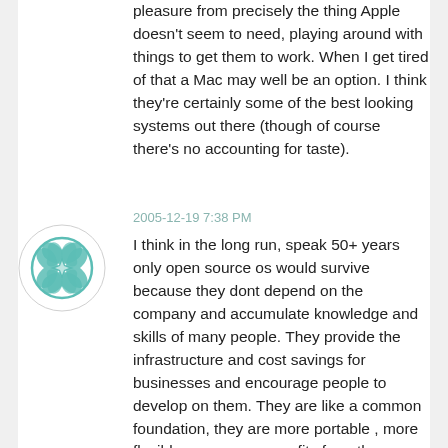pleasure from precisely the thing Apple doesn't seem to need, playing around with things to get them to work. When I get tired of that a Mac may well be an option. I think they're certainly some of the best looking systems out there (though of course there's no accounting for taste).
[Figure (logo): Teal/mint colored geometric mandala-style avatar icon in a white circle with gray border]
2005-12-19 7:38 PM
I think in the long run, speak 50+ years only open source os would survive because they dont depend on the company and accumulate knowledge and skills of many people. They provide the infrastructure and cost savings for businesses and encourage people to develop on them. They are like a common foundation, they are more portable , more flexible an everyone profits from the source and is free to contribute to them. Microsoft/apple will die some day, but i